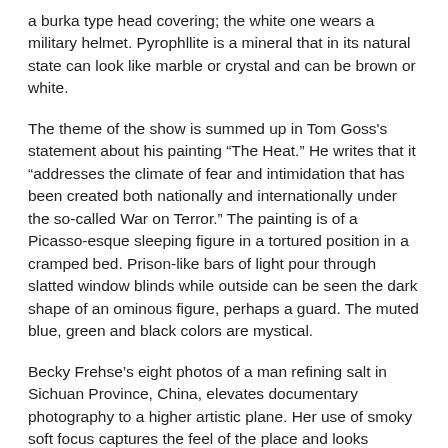a burka type head covering; the white one wears a military helmet. Pyrophllite is a mineral that in its natural state can look like marble or crystal and can be brown or white.
The theme of the show is summed up in Tom Goss's statement about his painting “The Heat.” He writes that it “addresses the climate of fear and intimidation that has been created both nationally and internationally under the so-called War on Terror.” The painting is of a Picasso-esque sleeping figure in a tortured position in a cramped bed. Prison-like bars of light pour through slatted window blinds while outside can be seen the dark shape of an ominous figure, perhaps a guard. The muted blue, green and black colors are mystical.
Becky Frehse’s eight photos of a man refining salt in Sichuan Province, China, elevates documentary photography to a higher artistic plane. Her use of smoky soft focus captures the feel of the place and looks painterly.
I was particularly taken by William Mitchell’s four photos of street art in the San Telmo neighborhood in Buenos Aires.